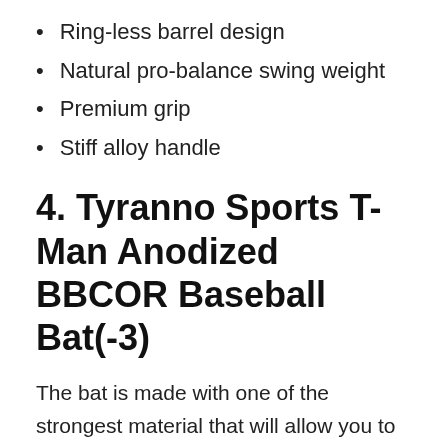Ring-less barrel design
Natural pro-balance swing weight
Premium grip
Stiff alloy handle
4. Tyranno Sports T-Man Anodized BBCOR Baseball Bat(-3)
The bat is made with one of the strongest material that will allow you to maximize your play. It’s a popular one used by Future Major League power hitters and proves to be much lighter than other drop 3 bats as its weight is distributed evenly